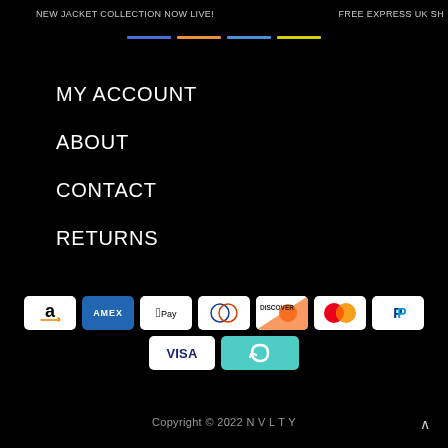NEW JACKET COLLECTION NOW LIVE!   FREE EXPRESS UK SH
[Figure (other): Horizontal color bars: blue, orange, blue, yellow]
MY ACCOUNT
ABOUT
CONTACT
RETURNS
[Figure (other): Payment method icons: Amazon, AMEX, Apple Pay, Diners Club, Discover, Mastercard, PayPal, Visa, Cashback]
Copyright © 2022 N V L T Y